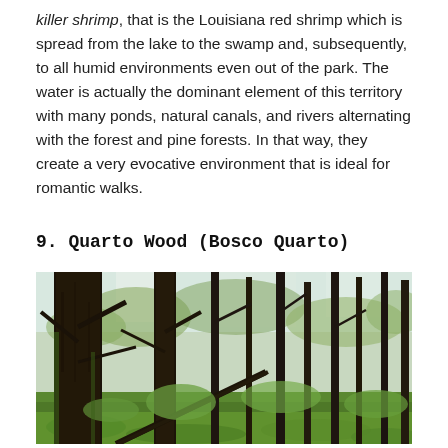killer shrimp, that is the Louisiana red shrimp which is spread from the lake to the swamp and, subsequently, to all humid environments even out of the park. The water is actually the dominant element of this territory with many ponds, natural canals, and rivers alternating with the forest and pine forests. In that way, they create a very evocative environment that is ideal for romantic walks.
9. Quarto Wood (Bosco Quarto)
[Figure (photo): Photograph of a forest with tall dark tree trunks, bare and leafy branches, and green undergrowth on the forest floor. Light filters through the canopy.]